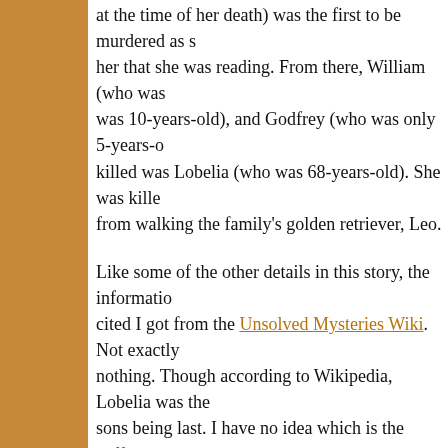at the time of her death) was the first to be murdered as she was reading. From there, William (who was 10-years-old), and Godfrey (who was only 5-years-old). The last killed was Lobelia (who was 68-years-old). She was killed from walking the family's golden retriever, Leo.
Like some of the other details in this story, the information I cited I got from the Unsolved Mysteries Wiki. Not exactly nothing. Though according to Wikipedia, Lobelia was the sons being last. I have no idea which is the "official" version, but the same. A bloody, grisly scene that would go unnoticed for
You see, once all was said and done, Bradford didn't simply corpses of his family into his station wagon, taking Leo the an all-night drive from Bethesda, Maryland to Columbia, going by Google Maps, that drive would take 4 hours and would've taken a bit longer given the 44 year difference b
Man, that's a lot of 4s.